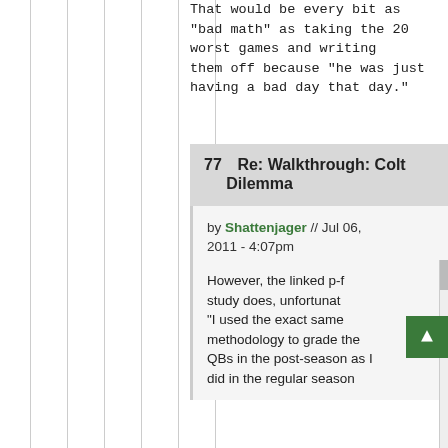That would be every bit as "bad math" as taking the 20 worst games and writing them off because "he was just having a bad day that day."
77  Re: Walkthrough: Colt Dilemma
by Shattenjager // Jul 06, 2011 - 4:07pm
However, the linked p- study does, unfortunat- "I used the exact same methodology to grade the QBs in the post-season as I did in the regular season